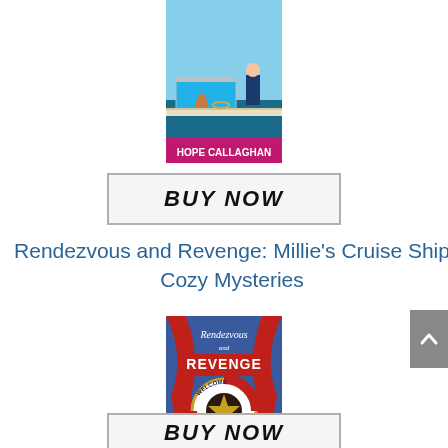[Figure (illustration): Book cover for a cruise ship cozy mystery by Hope Callaghan - top book cover showing a cruise ship deck scene]
[Figure (illustration): BUY NOW button with bold italic text and light gray border]
Rendezvous and Revenge: Millie's Cruise Ship Cozy Mysteries
[Figure (illustration): Book cover for Rendezvous and Revenge by Hope Callaghan - theater curtains, life preserver ring, Welcome Aboard text]
[Figure (illustration): BUY NOW button with bold italic text and light gray border]